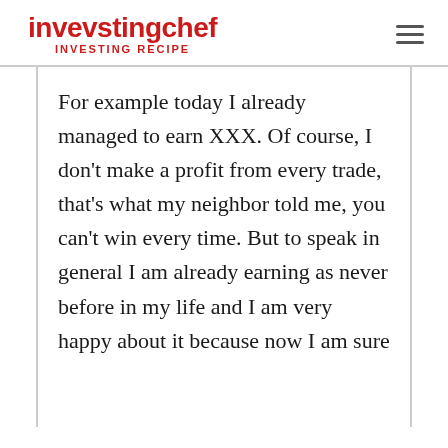invevstingchef INVESTING RECIPE
For example today I already managed to earn XXX. Of course, I don't make a profit from every trade, that's what my neighbor told me, you can't win every time. But to speak in general I am already earning as never before in my life and I am very happy about it because now I am sure